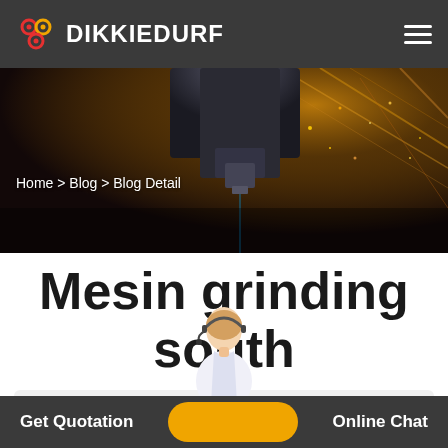DIKKIEDURF
[Figure (photo): Industrial laser cutting machine in action with sparks flying, dark background, motion blur effect]
Home > Blog > Blog Detail
Mesin grinding south
Zhongzhou Zhongding Heavy Duty Machine
Get Quotation    Online Chat